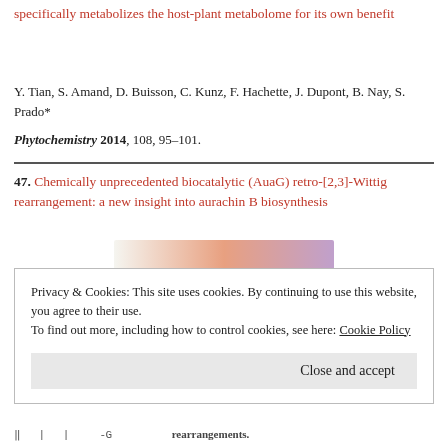specifically metabolizes the host-plant metabolome for its own benefit
Y. Tian, S. Amand, D. Buisson, C. Kunz, F. Hachette, J. Dupont, B. Nay, S. Prado*
Phytochemistry 2014, 108, 95–101.
47. Chemically unprecedented biocatalytic (AuaG) retro-[2,3]-Wittig rearrangement: a new insight into aurachin B biosynthesis
[Figure (other): Advertisement banner with gradient orange/purple colors and 'REPORT THIS AD' label]
Privacy & Cookies: This site uses cookies. By continuing to use this website, you agree to their use.
To find out more, including how to control cookies, see here: Cookie Policy
Close and accept